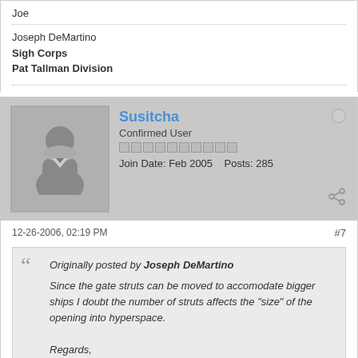Joe
Joseph DeMartino
Sigh Corps
Pat Tallman Division
Susitcha
Confirmed User
Join Date: Feb 2005  Posts: 285
12-26-2006, 02:19 PM
#7
Originally posted by Joseph DeMartino
Since the gate struts can be moved to accomodate bigger ships I doubt the number of struts affects the "size" of the opening into hyperspace.

Regards,

Joe